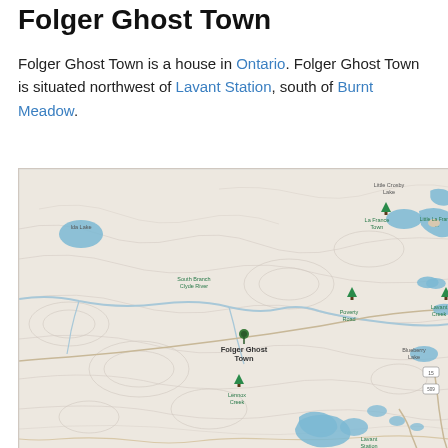Folger Ghost Town
Folger Ghost Town is a house in Ontario. Folger Ghost Town is situated northwest of Lavant Station, south of Burnt Meadow.
[Figure (map): Topographic map showing Folger Ghost Town and surrounding area in Ontario, including landmarks: Little Crosby Lake, La France Town, Little La France, South Branch Clyde River, Poverty Road, Lavant Creek, Blueberry Lake, Lavant Station, and other geographic features. Water bodies shown in blue. Folger Ghost Town marked with a pin in the center-left area.]